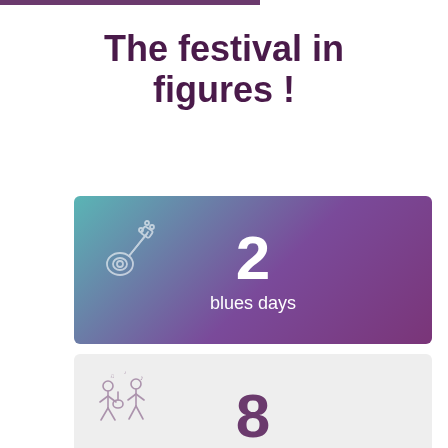The festival in figures !
[Figure (infographic): Card with gradient background (teal to purple), guitar icon, large number '2' and label 'blues days']
[Figure (infographic): Card with light grey background, musician band icon, large number '8' and label 'bands']